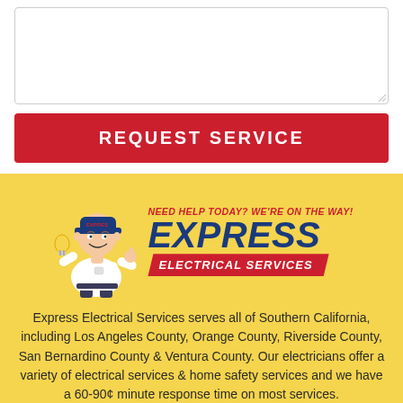[Figure (other): Empty textarea input box with resize handle in bottom-right corner]
REQUEST SERVICE
[Figure (logo): Express Electrical Services logo featuring a cartoon electrician mascot holding a lightbulb, with tagline 'NEED HELP TODAY? WE'RE ON THE WAY!' above the company name 'EXPRESS ELECTRICAL SERVICES' on a red banner ribbon, all on a yellow background]
Express Electrical Services serves all of Southern California, including Los Angeles County, Orange County, Riverside County, San Bernardino County & Ventura County. Our electricians offer a variety of electrical services & home safety services and we have a 60-90¢ minute response time on most services.